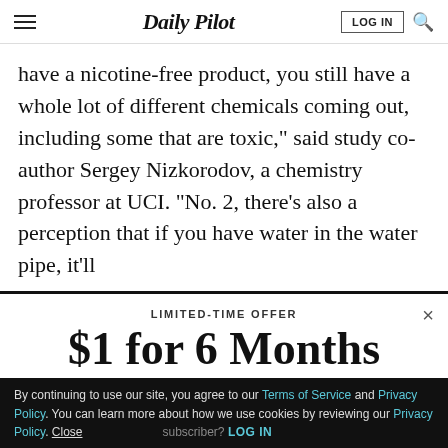Daily Pilot
have a nicotine-free product, you still have a whole lot of different chemicals coming out, including some that are toxic,” said study co-author Sergey Nizkorodov, a chemistry professor at UCI. “No. 2, there’s also a perception that if you have water in the water pipe, it’ll
LIMITED-TIME OFFER
$1 for 6 Months
SUBSCRIBE NOW
By continuing to use our site, you agree to our Terms of Service and Privacy Policy. You can learn more about how we use cookies by reviewing our Privacy Policy. Close